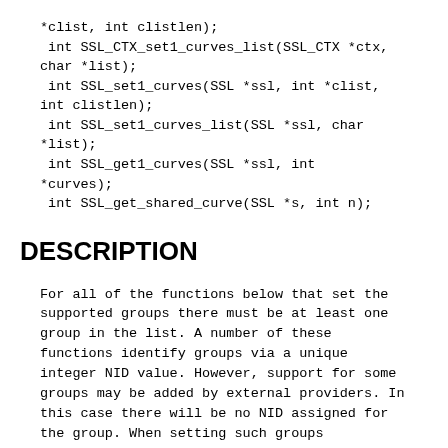*clist, int clistlen);
 int SSL_CTX_set1_curves_list(SSL_CTX *ctx, char *list);
 int SSL_set1_curves(SSL *ssl, int *clist, int clistlen);
 int SSL_set1_curves_list(SSL *ssl, char *list);
 int SSL_get1_curves(SSL *ssl, int *curves);
 int SSL_get_shared_curve(SSL *s, int n);
DESCRIPTION
For all of the functions below that set the supported groups there must be at least one group in the list. A number of these functions identify groups via a unique integer NID value. However, support for some groups may be added by external providers. In this case there will be no NID assigned for the group. When setting such groups